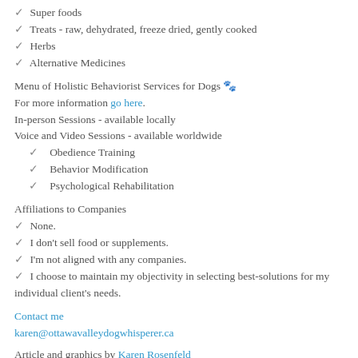✓ Super foods
✓ Treats - raw, dehydrated, freeze dried, gently cooked
✓ Herbs
✓ Alternative Medicines
Menu of Holistic Behaviorist Services for Dogs 🐾
For more information go here.
In-person Sessions - available locally
Voice and Video Sessions - available worldwide
✓  Obedience Training
✓  Behavior Modification
✓  Psychological Rehabilitation
Affiliations to Companies
✓ None.
✓ I don't sell food or supplements.
✓ I'm not aligned with any companies.
✓ I choose to maintain my objectivity in selecting best-solutions for my individual client's needs.
Contact me
karen@ottawavalleydogwhisperer.ca
Article and graphics by Karen Rosenfeld